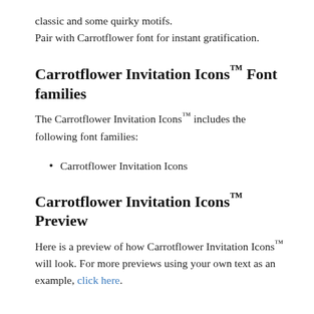classic and some quirky motifs.
Pair with Carrotflower font for instant gratification.
Carrotflower Invitation Icons™ Font families
The Carrotflower Invitation Icons™ includes the following font families:
Carrotflower Invitation Icons
Carrotflower Invitation Icons™ Preview
Here is a preview of how Carrotflower Invitation Icons™ will look. For more previews using your own text as an example, click here.